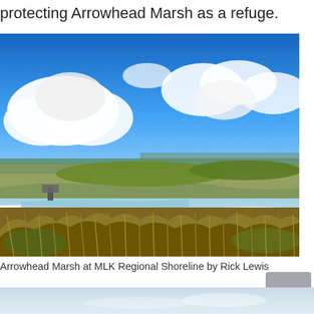protecting Arrowhead Marsh as a refuge.
[Figure (photo): Aerial/ground-level landscape photo of Arrowhead Marsh at MLK Regional Shoreline, showing wetland channels with golden marsh grasses in the foreground, calm water channels winding through the marsh, green islands, and a vivid blue sky with large white cumulus clouds. A small observation structure is visible on the left.]
Arrowhead Marsh at MLK Regional Shoreline by Rick Lewis
[Figure (photo): Partial view of a second photo showing a light blue sky and water, cropped at the bottom of the page.]